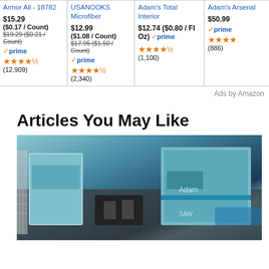[Figure (screenshot): Amazon product card: Armor All - 18782, $15.29 ($0.17/Count), was $19.29 ($0.21/Count), Prime, 4.5 stars, (12,909) reviews]
[Figure (screenshot): Amazon product card: USANOOKS Microfiber, $12.99 ($1.08/Count), was $17.95 ($1.50/Count), Prime, 4.5 stars, (2,340) reviews]
[Figure (screenshot): Amazon product card: Adam's Total Interior, $12.74 ($0.80/Fl Oz), Prime, 4.5 stars, (1,100) reviews]
[Figure (screenshot): Amazon product card: Adam's Arsenal (partial), $50.99, Prime, 4+ stars, (886) reviews]
Ads by Amazon
Articles You May Like
[Figure (photo): Aerial view of warehouse/logistics facility with blue delivery trucks and cargo handling equipment on dark asphalt]